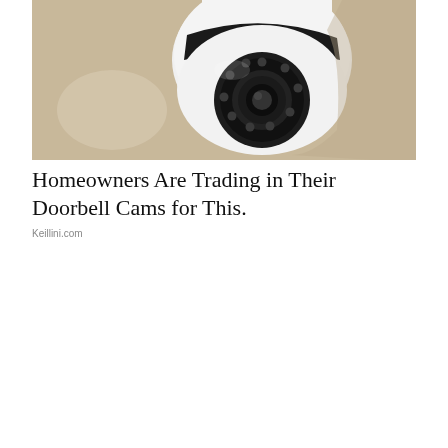[Figure (photo): Close-up photo of a white dome/pan-tilt security camera with a black lens ring containing multiple LED nodes, on a beige/tan background.]
Homeowners Are Trading in Their Doorbell Cams for This.
Keillini.com